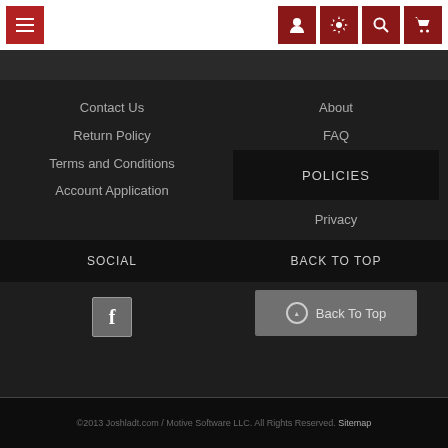Navigation bar with menu and icon buttons
Contact Us
Return Policy
Terms and Conditions
Account Application
About
FAQ
POLICIES
Privacy
SOCIAL
BACK TO TOP
[Figure (logo): Facebook icon button]
Back To Top
©2013 Joshladt.com / Motive Software LLC. All Rights Reserved. Sitemap